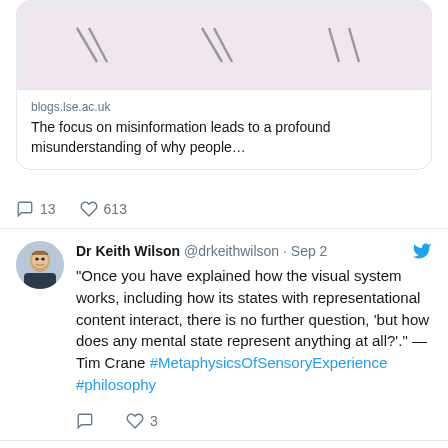[Figure (screenshot): Link card image showing diagonal lines on pink/lavender background from blogs.lse.ac.uk]
blogs.lse.ac.uk
The focus on misinformation leads to a profound misunderstanding of why people...
13 comments · 613 likes
Dr Keith Wilson @drkeithwilson · Sep 2
“Once you have explained how the visual system works, including how its states with representational content interact, there is no further question, ‘but how does any mental state represent anything at all?’.” —Tim Crane #MetaphysicsOfSensoryExperience #philosophy
3 likes
Dr Keith Wilson @drkeithwilson · Sep 2
Replying to @drkeithwilson
Spoiler: representationalism can survive, at